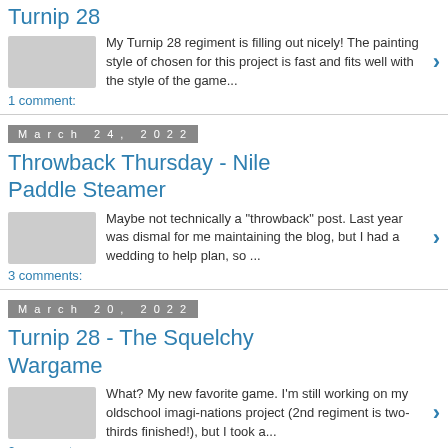Turnip 28
My Turnip 28 regiment is filling out nicely! The painting style of chosen for this project is fast and fits well with the style of the game...
1 comment:
March 24, 2022
Throwback Thursday - Nile Paddle Steamer
Maybe not technically a "throwback" post. Last year was dismal for me maintaining the blog, but I had a wedding to help plan, so ...
3 comments:
March 20, 2022
Turnip 28 - The Squelchy Wargame
What? My new favorite game. I'm still working on my oldschool imagi-nations project (2nd regiment is two-thirds finished!), but I took a...
2 comments: